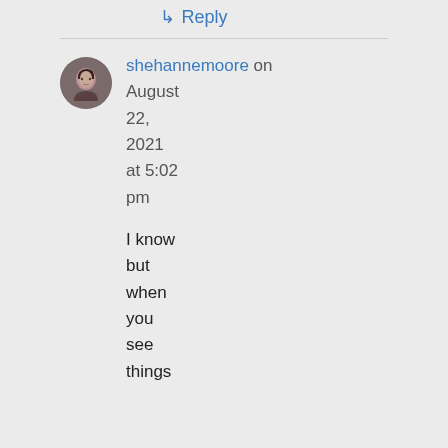↳ Reply
shehannemoore on August 22, 2021 at 5:02 pm
[Figure (photo): Small circular avatar photo of a woman with dark hair]
I know but when you see things